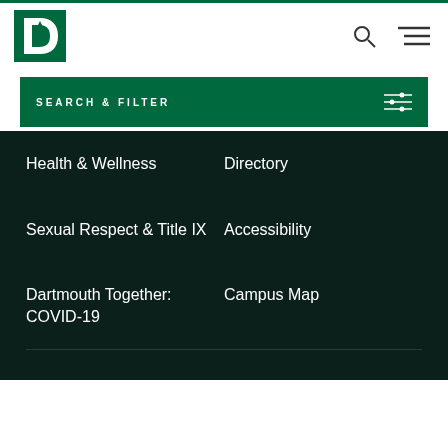[Figure (logo): Dartmouth College logo - green D with pine tree, white tree on green background]
SEARCH & FILTER
Health & Wellness
Directory
Sexual Respect & Title IX
Accessibility
Dartmouth Together: COVID-19
Campus Map